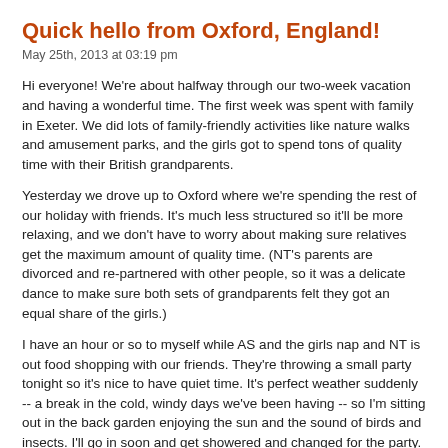Quick hello from Oxford, England!
May 25th, 2013 at 03:19 pm
Hi everyone! We're about halfway through our two-week vacation and having a wonderful time. The first week was spent with family in Exeter. We did lots of family-friendly activities like nature walks and amusement parks, and the girls got to spend tons of quality time with their British grandparents.
Yesterday we drove up to Oxford where we're spending the rest of our holiday with friends. It's much less structured so it'll be more relaxing, and we don't have to worry about making sure relatives get the maximum amount of quality time. (NT's parents are divorced and re-partnered with other people, so it was a delicate dance to make sure both sets of grandparents felt they got an equal share of the girls.)
I have an hour or so to myself while AS and the girls nap and NT is out food shopping with our friends. They're throwing a small party tonight so it's nice to have quiet time. It's perfect weather suddenly -- a break in the cold, windy days we've been having -- so I'm sitting out in the back garden enjoying the sun and the sound of birds and insects. I'll go in soon and get showered and changed for the party.
I'm afraid I've put on weight with all the delicious but starchy food we've